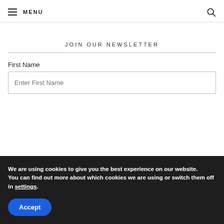≡ MENU
JOIN OUR NEWSLETTER
First Name
Enter First Name
We are using cookies to give you the best experience on our website.
You can find out more about which cookies we are using or switch them off in settings.
Accept